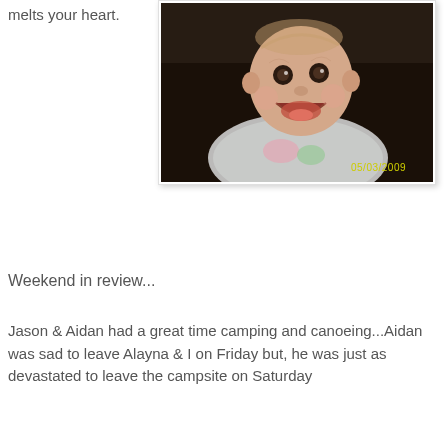melts your heart.
[Figure (photo): Photo of a smiling baby with date stamp 05/03/2009 in the bottom right corner. Dark background.]
Weekend in review...
Jason & Aidan had a great time camping and canoeing...Aidan was sad to leave Alayna & I on Friday but, he was just as devastated to leave the campsite on Saturday